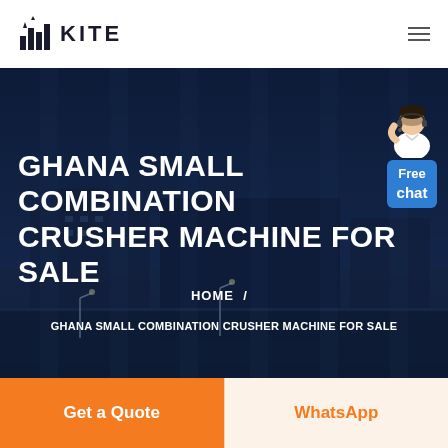KITE
[Figure (screenshot): Hero banner with dark blue industrial building background, vertical light column overlays, 'Free chat' widget with customer service avatar in top right, large white title text 'GHANA SMALL COMBINATION CRUSHER MACHINE FOR SALE', breadcrumb navigation 'HOME / GHANA SMALL COMBINATION CRUSHER MACHINE FOR SALE']
GHANA SMALL COMBINATION CRUSHER MACHINE FOR SALE
HOME / GHANA SMALL COMBINATION CRUSHER MACHINE FOR SALE
Get a Quote
WhatsApp